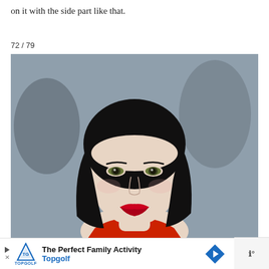on it with the side part like that.
72 / 79
[Figure (photo): Close-up photo of a young woman with short black hair and blunt bangs, green eyes, and bright red lipstick, wearing what appears to be a red outfit. The background is blurred gray/blue.]
[Figure (other): Advertisement bar: The Perfect Family Activity / Topgolf, with Topgolf shield logo, play/close controls, and a blue arrow navigation button. Weather widget partially visible on the right.]